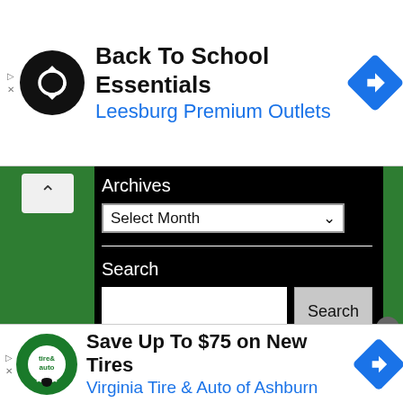[Figure (screenshot): Top advertisement banner: Back To School Essentials at Leesburg Premium Outlets, with a circular black logo with infinity/loop symbol and a blue diamond navigation icon.]
[Figure (screenshot): Website sidebar widget on dark background showing Archives dropdown (Select Month) and a Search box with Search button, flanked by green panels on either side. A chevron/up-arrow collapse button is visible on the left green panel.]
[Figure (screenshot): Bottom advertisement banner: Save Up To $75 on New Tires at Virginia Tire & Auto of Ashburn, with a circular tire & auto logo and a blue diamond navigation icon. A gray close (x) button is visible in the upper right corner.]